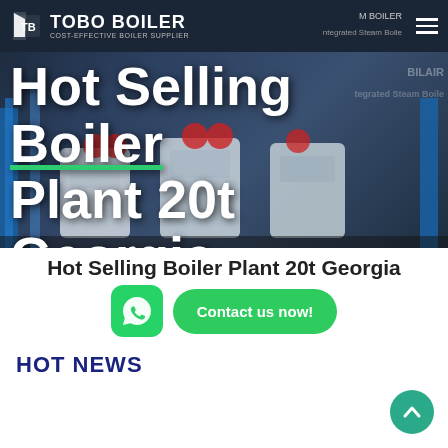[Figure (screenshot): Hero banner with TOBO BOILER logo at top, dark industrial background showing boiler plant equipment, large white bold text reading 'Hot Selling Boiler Plant 20t Georgia']
Hot Selling Boiler Plant 20t Georgia
[Figure (infographic): WhatsApp icon button (green rounded square) and green pill-shaped 'Contact us now!' button]
HOT NEWS